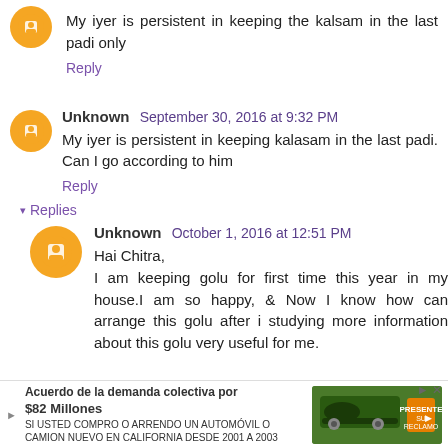My iyer is persistent in keeping the kalsam in the last padi only
Reply
Unknown September 30, 2016 at 9:32 PM
My iyer is persistent in keeping kalasam in the last padi. Can I go according to him
Reply
▾ Replies
Unknown October 1, 2016 at 12:51 PM
Hai Chitra, I am keeping golu for first time this year in my house.I am so happy, & Now I know how can arrange this golu after i studying more information about this golu very useful for me.
[Figure (infographic): Advertisement banner: Acuerdo de la demanda colectiva por $82 Millones - SI USTED COMPRO O ARRENDO UN AUTOMOVIL O CAMION NUEVO EN CALIFORNIA DESDE 2001 A 2003]